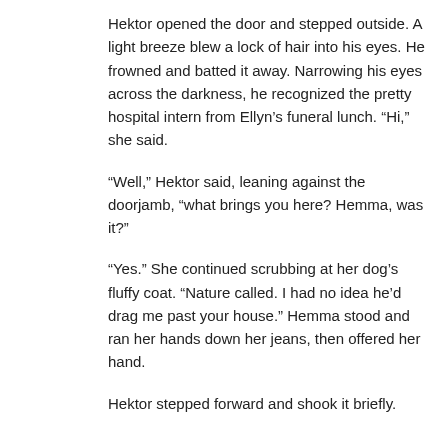Hektor opened the door and stepped outside. A light breeze blew a lock of hair into his eyes. He frowned and batted it away. Narrowing his eyes across the darkness, he recognized the pretty hospital intern from Ellyn’s funeral lunch. “Hi,” she said.
“Well,” Hektor said, leaning against the doorjamb, “what brings you here? Hemma, was it?”
“Yes.” She continued scrubbing at her dog’s fluffy coat. “Nature called. I had no idea he’d drag me past your house.” Hemma stood and ran her hands down her jeans, then offered her hand.
Hektor stepped forward and shook it briefly.
“I’m sorry. We didn’t mean to disturb you.”
“No disturbance. Though I have to tell you,” he said, lowering his voice conspiratorially, “my father says he’s going to call the pound on your dog.”